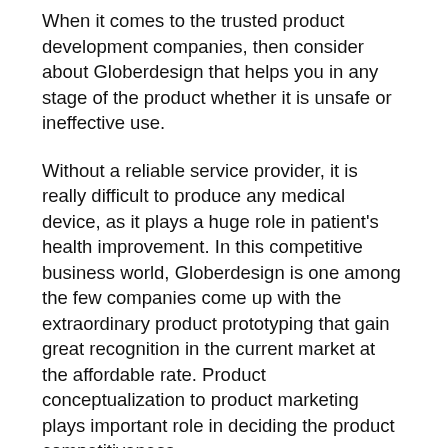When it comes to the trusted product development companies, then consider about Globerdesign that helps you in any stage of the product whether it is unsafe or ineffective use.
Without a reliable service provider, it is really difficult to produce any medical device, as it plays a huge role in patient's health improvement. In this competitive business world, Globerdesign is one among the few companies come up with the extraordinary product prototyping that gain great recognition in the current market at the affordable rate. Product conceptualization to product marketing plays important role in deciding the product competitiveness.
With a successful proven track record of transferring vision into a product, Globerdesign extends services from product design, development in many domains like sheet metal, castings, plastics and much more. Various are like